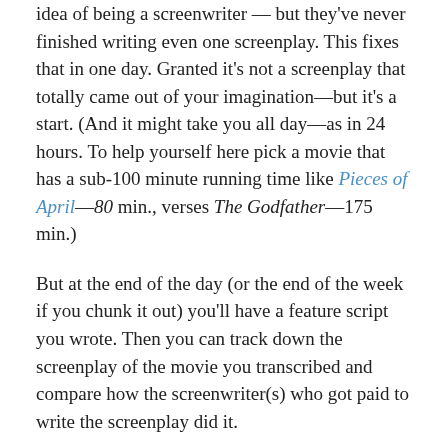idea of being a screenwriter — but they've never finished writing even one screenplay. This fixes that in one day. Granted it's not a screenplay that totally came out of your imagination—but it's a start. (And it might take you all day—as in 24 hours. To help yourself here pick a movie that has a sub-100 minute running time like Pieces of April—80 min., verses The Godfather—175 min.)
But at the end of the day (or the end of the week if you chunk it out) you'll have a feature script you wrote. Then you can track down the screenplay of the movie you transcribed and compare how the screenwriter(s) who got paid to write the screenplay did it.
Then you can begin to analyze how that script is different from yours. But for now we're just going to get it written. (No pressure here. You don't have to show this to anyone.)